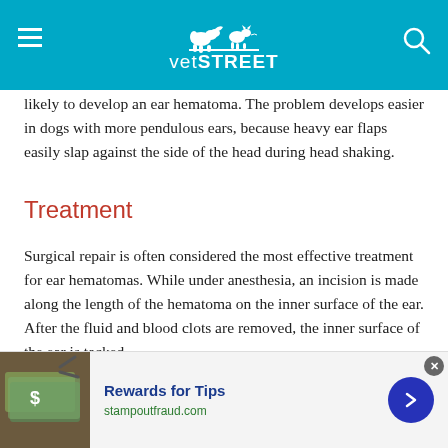vetSTREET
likely to develop an ear hematoma. The problem develops easier in dogs with more pendulous ears, because heavy ear flaps easily slap against the side of the head during head shaking.
Treatment
Surgical repair is often considered the most effective treatment for ear hematomas. While under anesthesia, an incision is made along the length of the hematoma on the inner surface of the ear. After the fluid and blood clots are removed, the inner surface of the ear is tacked down to the outer surface of the ear with sutures. The drainage allows inner and outer surfaces to appose each other so that when scar tissue forms, the ear is flattened and will not reform. The th...
This site uses cookies as described in our Cookie Policy. Please click...
[Figure (other): Advertisement banner: Rewards for Tips, stampoutfraud.com, showing dollar bills image]
Rewards for Tips
stampoutfraud.com